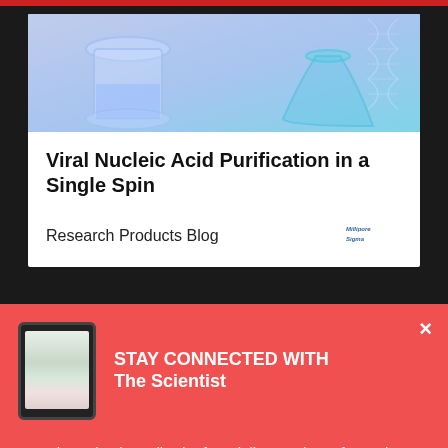[Figure (photo): Laboratory glassware including beakers and flasks with blue tones, science lab background image]
Viral Nucleic Acid Purification in a Single Spin
Research Products Blog
[Figure (logo): MilliporeSigma logo in blue]
[Figure (photo): Tablet device showing The Scientist publication]
STAY CONNECTED WITH The Scientist
Get The Scientist Daily, the free daily newsletter from The Scientist
Sign up for our free newsletter